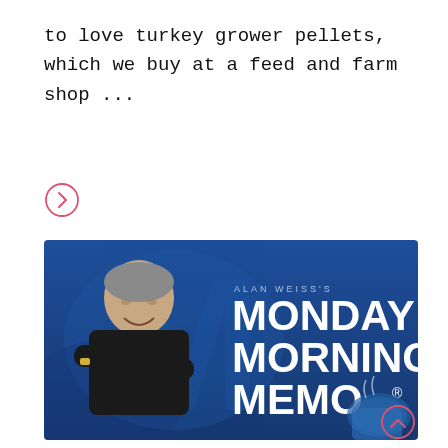to love turkey grower pellets, which we buy at a feed and farm shop ...
[Figure (other): Pink outlined circle with right-pointing arrow chevron, used as a 'read more' navigation button]
[Figure (photo): Alan Weiss's Monday Morning Memo banner image featuring a smiling older man with crossed arms in a black t-shirt on the left, and bold white text 'MONDAY MORNING MEMO' with registered trademark symbol on a blue background with steaming coffee mug on the right]